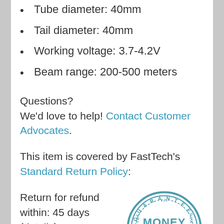Tube diameter: 40mm
Tail diameter: 40mm
Working voltage: 3.7-4.2V
Beam range: 200-500 meters
Questions?
We'd love to help! Contact Customer Advocates.
This item is covered by FastTech's Standard Return Policy:
Return for refund within: 45 days (details)
Return for replacement within:
[Figure (illustration): A circular 'Money Back Guarantee' stamp seal in blue/teal color]